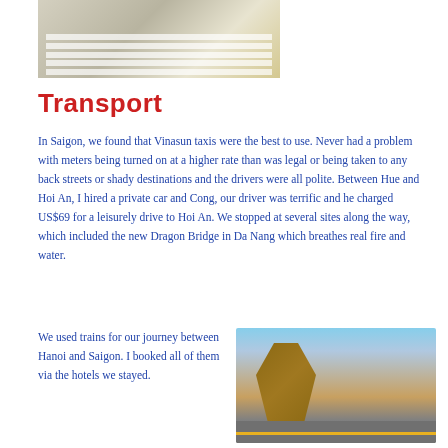[Figure (photo): Top portion of a photo showing a crosswalk/pedestrian crossing with a vehicle visible at the top]
Transport
In Saigon, we found that Vinasun taxis were the best to use. Never had a problem with meters being turned on at a higher rate than was legal or being taken to any back streets or shady destinations and the drivers were all polite. Between Hue and Hoi An, I hired a private car and Cong, our driver was terrific and he charged US$69 for a leisurely drive to Hoi An. We stopped at several sites along the way, which included the new Dragon Bridge in Da Nang which breathes real fire and water.
We used trains for our journey between Hanoi and Saigon. I booked all of them via the hotels we stayed.
[Figure (photo): Photo of the Dragon Bridge in Da Nang, showing the dragon sculpture on the bridge with a road and sky in the background]